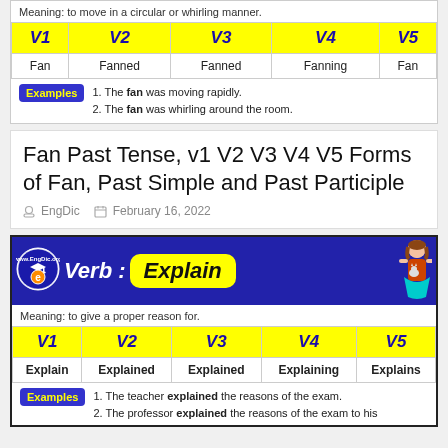Meaning: to move in a circular or whirling manner.
| V1 | V2 | V3 | V4 | V5 |
| --- | --- | --- | --- | --- |
| Fan | Fanned | Fanned | Fanning | Fan |
Examples
1. The fan was moving rapidly.
2. The fan was whirling around the room.
Fan Past Tense, v1 V2 V3 V4 V5 Forms of Fan, Past Simple and Past Participle
EngDic   February 16, 2022
[Figure (infographic): EngDic logo circle with graduation cap]
Verb : Explain
Meaning: to give a proper reason for.
| V1 | V2 | V3 | V4 | V5 |
| --- | --- | --- | --- | --- |
| Explain | Explained | Explained | Explaining | Explains |
Examples
1. The teacher explained the reasons of the exam.
2. The professor explained the reasons of the exam to his